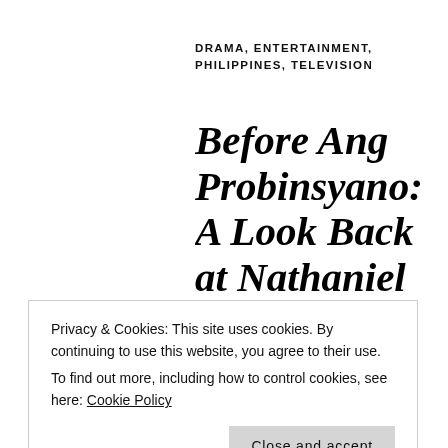DRAMA, ENTERTAINMENT, PHILIPPINES, TELEVISION
Before Ang Probinsyano: A Look Back at Nathaniel
SEPTEMBER 18, 2018 | RALPHIERCE | ABS-CBN, ABS-CBN PRIMETIME BIDA, ANG PROBINSYANO, ANG PROBINSYANO ABS-CBN, ANG PROBINSYANO THIRD ANNIVERSARY, ANG PROBINSYANO IIBIGIN, IKAW LANG ANG IIBIGIN ABS-CBN, ISABELLE DAZA, JADINE
Privacy & Cookies: This site uses cookies. By continuing to use this website, you agree to their use.
To find out more, including how to control cookies, see here: Cookie Policy
Close and accept